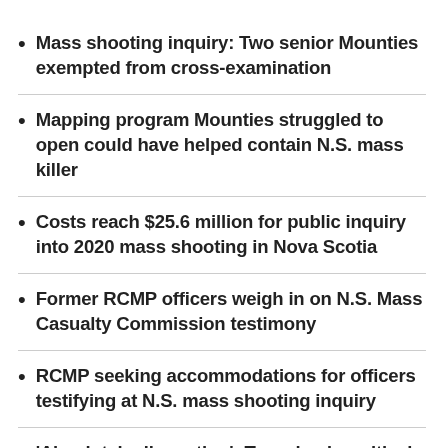Mass shooting inquiry: Two senior Mounties exempted from cross-examination
Mapping program Mounties struggled to open could have helped contain N.S. mass killer
Costs reach $25.6 million for public inquiry into 2020 mass shooting in Nova Scotia
Former RCMP officers weigh in on N.S. Mass Casualty Commission testimony
RCMP seeking accommodations for officers testifying at N.S. mass shooting inquiry
'Absolutely disgusting': Team leader critical of RCMP mental health support after N.S. shooting